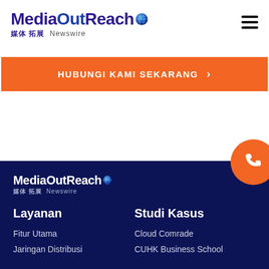[Figure (logo): MediaOutReach Newswire logo with globe icon, purple and dark blue text, Chinese characters below]
[Figure (infographic): Hamburger menu icon (three horizontal lines) in top right]
HUBUNGI KAMI SEKARANG >
[Figure (logo): MediaOutReach Newswire logo in white on dark navy footer background]
Layanan
Studi Kasus
Fitur Utama
Cloud Comrade
Jaringan Distribusi
CUHK Business School